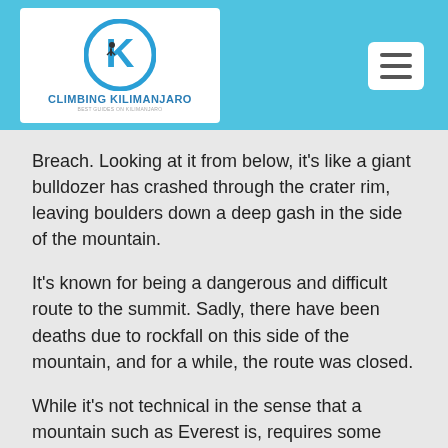[Figure (logo): Climbing Kilimanjaro logo: blue circle with K and mountain climber silhouette, text CLIMBING KILIMANJARO below]
Breach. Looking at it from below, it’s like a giant bulldozer has crashed through the crater rim, leaving boulders down a deep gash in the side of the mountain.
It’s known for being a dangerous and difficult route to the summit. Sadly, there have been deaths due to rockfall on this side of the mountain, and for a while, the route was closed.
While it’s not technical in the sense that a mountain such as Everest is, requires some scrambling and is very much a ‘straight-up’ route to the crater. Very steep, you climb via switchbacks and need a good head for heights.